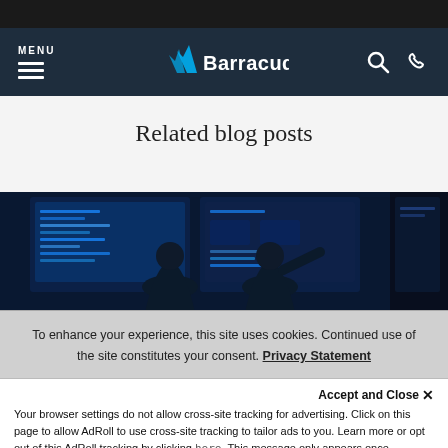[Figure (screenshot): Top dark status/browser bar at the top of the page]
MENU | Barracuda logo | search icon | phone icon
Related blog posts
[Figure (photo): Two people from behind looking at multiple computer monitors in a data center/security operations center environment]
To enhance your experience, this site uses cookies. Continued use of the site constitutes your consent. Privacy Statement
Accept and Close ✕
Your browser settings do not allow cross-site tracking for advertising. Click on this page to allow AdRoll to use cross-site tracking to tailor ads to you. Learn more or opt out of this AdRoll tracking by clicking here. This message only appears once.